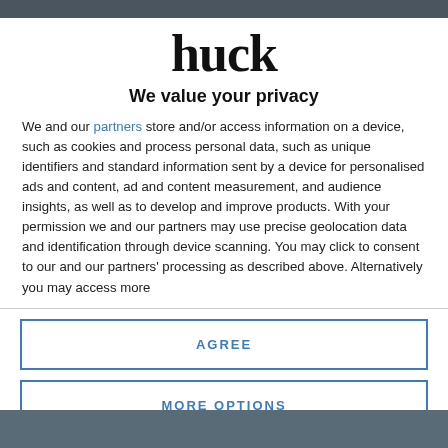[Figure (logo): Huck magazine logo in large bold serif font]
We value your privacy
We and our partners store and/or access information on a device, such as cookies and process personal data, such as unique identifiers and standard information sent by a device for personalised ads and content, ad and content measurement, and audience insights, as well as to develop and improve products. With your permission we and our partners may use precise geolocation data and identification through device scanning. You may click to consent to our and our partners' processing as described above. Alternatively you may access more
AGREE
MORE OPTIONS